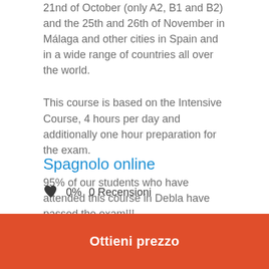21nd of October (only A2, B1 and B2) and the 25th and 26th of November in Málaga and other cities in Spain and in a wide range of countries all over the world.
This course is based on the Intensive Course, 4 hours per day and additionally one hour preparation for the exam.
95% of our students who have attended this course in Debla have passed the exam!!!
Spagnolo online
0%  0 Recensioni
Ottieni prezzo